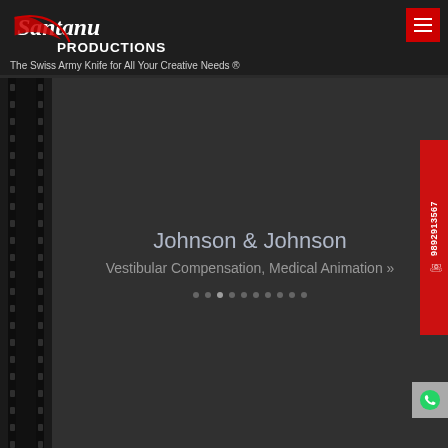[Figure (logo): Santanu Productions logo with cursive 'Santanu' in red and white and bold 'PRODUCTIONS' text below]
The Swiss Army Knife for All Your Creative Needs ®
[Figure (other): Hamburger menu button (three horizontal lines) in red square, top right]
[Figure (other): Film strip graphic on left side of page]
Johnson & Johnson
Vestibular Compensation, Medical Animation »
[Figure (other): Navigation dots row]
[Figure (other): Red vertical phone number sidebar showing 9892913567 with phone icon]
[Figure (other): WhatsApp green icon button at bottom right]